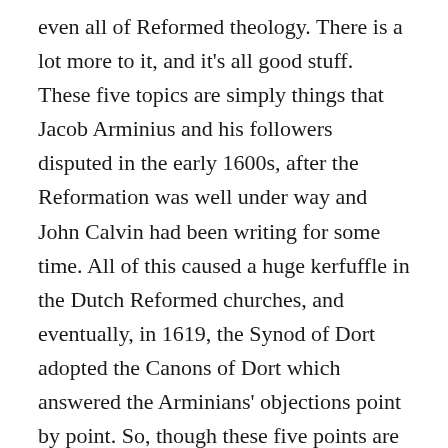even all of Reformed theology. There is a lot more to it, and it's all good stuff. These five topics are simply things that Jacob Arminius and his followers disputed in the early 1600s, after the Reformation was well under way and John Calvin had been writing for some time. All of this caused a huge kerfuffle in the Dutch Reformed churches, and eventually, in 1619, the Synod of Dort adopted the Canons of Dort which answered the Arminians' objections point by point. So, though these five points are not the whole of Reformed theology, they do represent some of the doctrines that people are most likely to have issues with, as demonstrated by Arminius, his followers, and in fact most people down to this day.